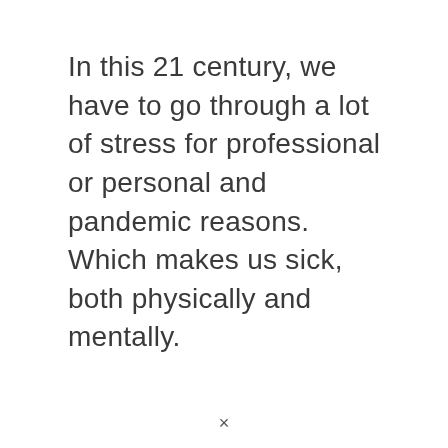In this 21 century, we have to go through a lot of stress for professional or personal and pandemic reasons. Which makes us sick, both physically and mentally.
×